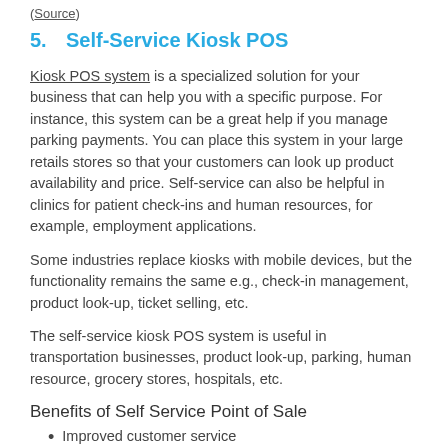(Source)
5.    Self-Service Kiosk POS
Kiosk POS system is a specialized solution for your business that can help you with a specific purpose. For instance, this system can be a great help if you manage parking payments. You can place this system in your large retails stores so that your customers can look up product availability and price. Self-service can also be helpful in clinics for patient check-ins and human resources, for example, employment applications.
Some industries replace kiosks with mobile devices, but the functionality remains the same e.g., check-in management, product look-up, ticket selling, etc.
The self-service kiosk POS system is useful in transportation businesses, product look-up, parking, human resource, grocery stores, hospitals, etc.
Benefits of Self Service Point of Sale
Improved customer service